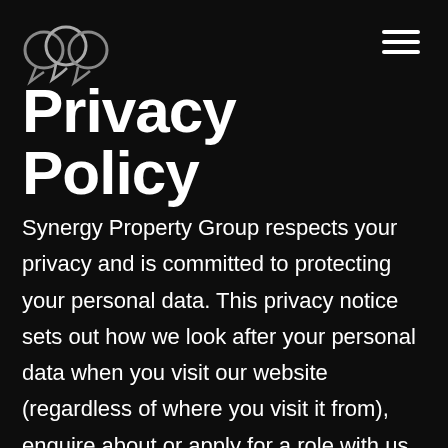[Figure (logo): Synergy Property Group logo — overlapping circular speech bubble shapes in dark gray/white outline]
Privacy Policy
Synergy Property Group respects your privacy and is committed to protecting your personal data. This privacy notice sets out how we look after your personal data when you visit our website (regardless of where you visit it from), enquire about or apply for a role with us via our website, or that is collected by us in other circumstances (these circumstances are detailed further below), and tells you about your privacy rights and how the law protects you. Please